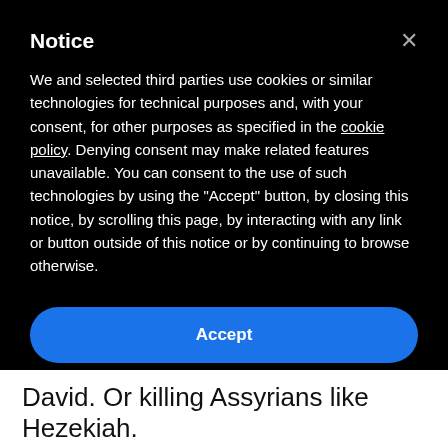Notice
We and selected third parties use cookies or similar technologies for technical purposes and, with your consent, for other purposes as specified in the cookie policy. Denying consent may make related features unavailable. You can consent to the use of such technologies by using the "Accept" button, by closing this notice, by scrolling this page, by interacting with any link or button outside of this notice or by continuing to browse otherwise.
Accept
Learn more and customize
David. Or killing Assyrians like Hezekiah.
People debate exactly what kind of